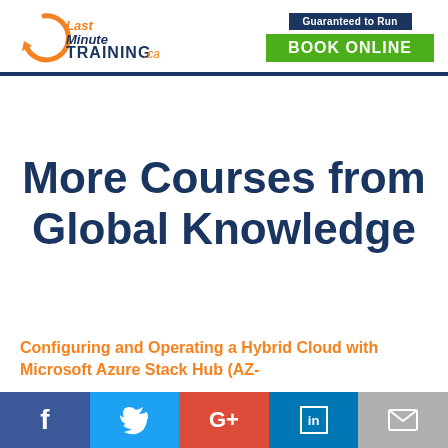[Figure (logo): Last Minute Training .ca logo with orange circular arrow and blue text]
Guaranteed to Run
BOOK ONLINE
More Courses from Global Knowledge
Configuring and Operating a Hybrid Cloud with Microsoft Azure Stack Hub (AZ-
[Figure (infographic): Social media share bar with Facebook, Twitter, Google+, LinkedIn, and email icons]